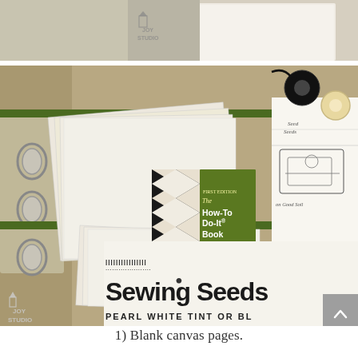[Figure (photo): Partial top photo showing cream/white fabric pages with a green 'How-To Do-It' book partially visible, including a Joy Studio watermark logo in the lower left corner.]
[Figure (photo): Main photo showing craft/sewing supplies on a tan kraft paper background: a binder with cream canvas pages fanned out, a small green book titled 'The How-To Do-It Book for Home' with black and white harlequin pattern cover, sewing-themed black and white printed fabric with 'Sewing Seeds' text, a black thread spool, washi tape roll, and Joy Studio watermark logo in lower left.]
•
1) Blank canvas pages.